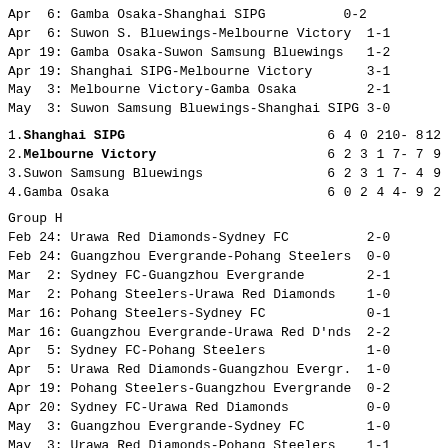Apr  6: Gamba Osaka-Shanghai SIPG          0-2
Apr  6: Suwon S. Bluewings-Melbourne Victory  1-1
Apr 19: Gamba Osaka-Suwon Samsung Bluewings  1-2
Apr 19: Shanghai SIPG-Melbourne Victory       3-1
May  3: Melbourne Victory-Gamba Osaka         2-1
May  3: Suwon Samsung Bluewings-Shanghai SIPG 3-0
| Pos | Team | P | W | D | L | GF-GA | Pts |
| --- | --- | --- | --- | --- | --- | --- | --- |
| 1. | Shanghai SIPG | 6 | 4 | 0 | 2 | 10- 8 | 12 |
| 2. | Melbourne Victory | 6 | 2 | 3 | 1 | 7- 7 | 9 |
| 3. | Suwon Samsung Bluewings | 6 | 2 | 3 | 1 | 7- 4 | 9 |
| 4. | Gamba Osaka | 6 | 0 | 2 | 4 | 4- 9 | 2 |
Group H
Feb 24: Urawa Red Diamonds-Sydney FC          2-0
Feb 24: Guangzhou Evergrande-Pohang Steelers  0-0
Mar  2: Sydney FC-Guangzhou Evergrande        2-1
Mar  2: Pohang Steelers-Urawa Red Diamonds    1-0
Mar 16: Pohang Steelers-Sydney FC             0-1
Mar 16: Guangzhou Evergrande-Urawa Red D'nds  2-2
Apr  5: Sydney FC-Pohang Steelers             1-0
Apr  5: Urawa Red Diamonds-Guangzhou Evergr.  1-0
Apr 19: Pohang Steelers-Guangzhou Evergrande  0-2
Apr 20: Sydney FC-Urawa Red Diamonds          0-0
May  3: Guangzhou Evergrande-Sydney FC        1-0
May  3: Urawa Red Diamonds-Pohang Steelers    1-1
| Pos | Team | P | W | D | L | GF-GA | Pts |
| --- | --- | --- | --- | --- | --- | --- | --- |
| 1. | Sydney FC | 6 | 3 | 1 | 2 | 4- 4 | 10 |
| 2. | Urawa Red Diamonds | 6 | 2 | 3 | 1 | 6- 4 | 9 |
| 3. | Guangzhou Evergrande | 6 | 2 | 2 | 2 | 6- 5 | 8 |
| 4. | Pohang Steelers | 6 | 1 | 2 | 3 | 2- 5 | 5 |